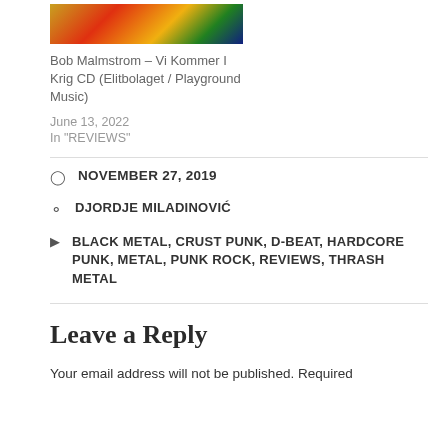[Figure (photo): Album cover image with colorful background (yellows, reds, greens, blues)]
Bob Malmstrom – Vi Kommer I Krig CD (Elitbolaget / Playground Music)
June 13, 2022
In "REVIEWS"
NOVEMBER 27, 2019
DJORDJE MILADINOVIĆ
BLACK METAL, CRUST PUNK, D-BEAT, HARDCORE PUNK, METAL, PUNK ROCK, REVIEWS, THRASH METAL
Leave a Reply
Your email address will not be published. Required